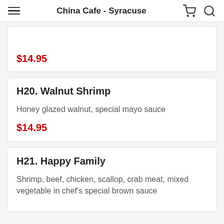China Cafe - Syracuse
$14.95
H20. Walnut Shrimp
Honey glazed walnut, special mayo sauce
$14.95
H21. Happy Family
Shrimp, beef, chicken, scallop, crab meat, mixed vegetable in chef's special brown sauce